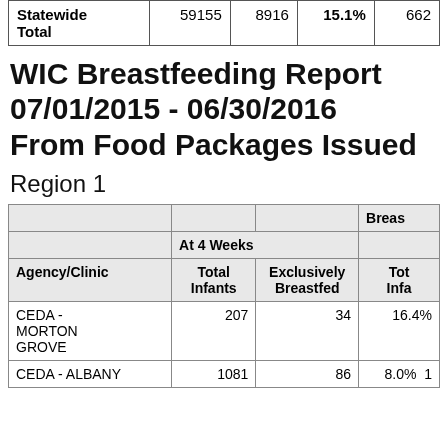|  |  |  |  |  |
| --- | --- | --- | --- | --- |
| Statewide Total | 59155 | 8916 | 15.1% | 662 |
WIC Breastfeeding Report 07/01/2015 - 06/30/2016 From Food Packages Issued
Region 1
| Agency/Clinic | Total Infants | Exclusively Breastfed | Tot Infa |
| --- | --- | --- | --- |
| CEDA - MORTON GROVE | 207 | 34 | 16.4% |  |
| CEDA - ALBANY | 1081 | 86 | 8.0% | 1 |